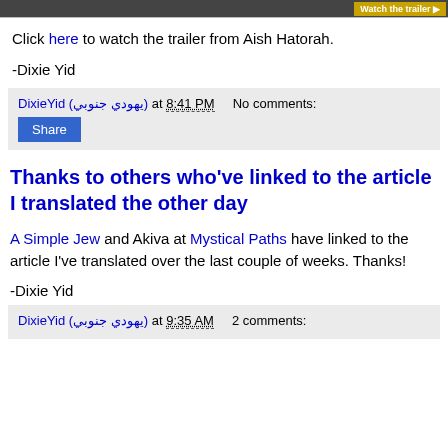[Figure (photo): Cropped image strip at top showing partial photos and a yellow 'Watch the trailer' button]
Click here to watch the trailer from Aish Hatorah.
-Dixie Yid
DixieYid (يهودي جنوبي) at 8:41 PM    No comments:
Share
Thanks to others who've linked to the article I translated the other day
A Simple Jew and Akiva at Mystical Paths have linked to the article I've translated over the last couple of weeks. Thanks!
-Dixie Yid
DixieYid (يهودي جنوبي) at 9:35 AM    2 comments: